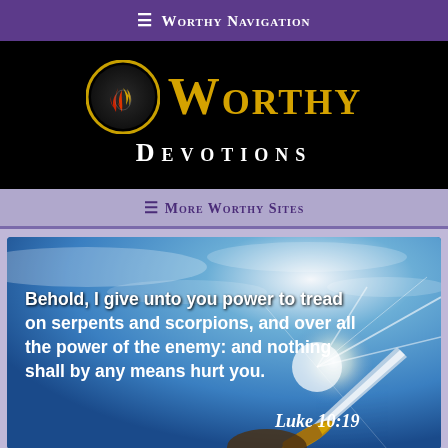≡ Worthy Navigation
[Figure (logo): Worthy Devotions logo on black background with golden lion emblem in circle and gold WORTHY text with white DEVOTIONS below]
≡ More Worthy Sites
[Figure (illustration): Bible verse image with sky background and sword: 'Behold, I give unto you power to tread on serpents and scorpions, and over all the power of the enemy: and nothing shall by any means hurt you. Luke 10:19']